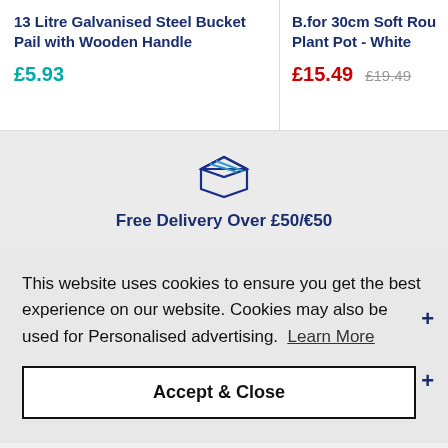13 Litre Galvanised Steel Bucket Pail with Wooden Handle
£5.93
B.for 30cm Soft Rou Plant Pot - White
£15.49  £19.49
[Figure (illustration): Box/package icon outline in dark navy blue]
Free Delivery Over £50/€50
This website uses cookies to ensure you get the best experience on our website. Cookies may also be used for Personalised advertising.  Learn More
Accept & Close